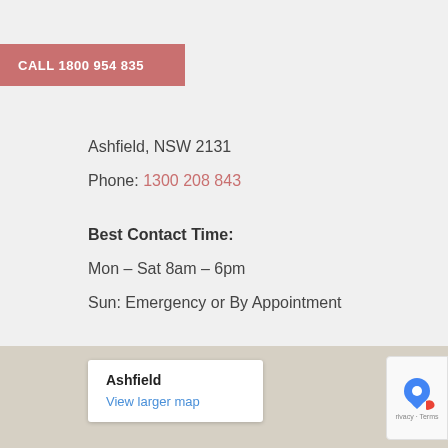CALL 1800 954 835
Ashfield, NSW 2131
Phone: 1300 208 843
Best Contact Time:
Mon – Sat 8am – 6pm
Sun: Emergency or By Appointment
[Figure (map): Google Maps embed showing Ashfield location with a popup card displaying 'Ashfield' and 'View larger map' link. A reCAPTCHA badge is visible in the bottom-right corner.]